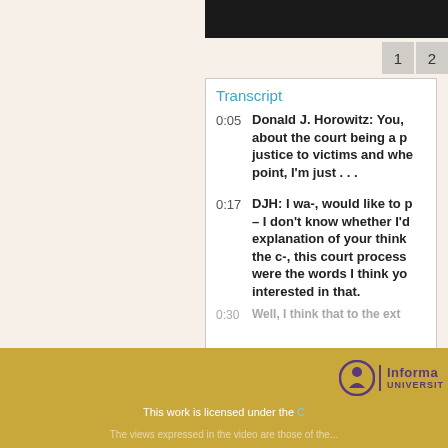[Figure (screenshot): Video player thumbnail strip showing dark video frame at top right]
1  2
Transcript
0:05  Donald J. Horowitz: You, about the court being a p justice to victims and whe point, I'm just . . .
0:17  DJH: I wa-, would like to p – I don't know whether I'd explanation of your think the c-, this court process were the words I think yo interested in that.
0:30  Well, I think that to the ext
[Figure (logo): Informa University logo with circular icon and text]
This work is licensed under the C
The views expressed in the video are those of the...